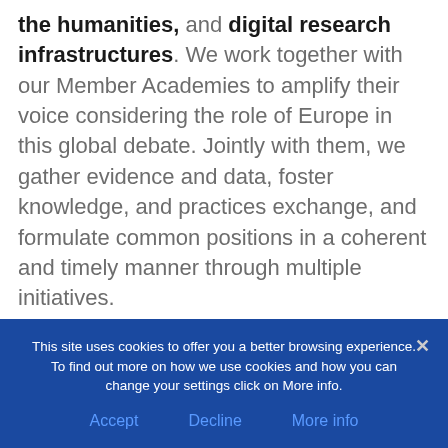the humanities, and digital research infrastructures. We work together with our Member Academies to amplify their voice considering the role of Europe in this global debate. Jointly with them, we gather evidence and data, foster knowledge, and practices exchange, and formulate common positions in a coherent and timely manner through multiple initiatives.
This site uses cookies to offer you a better browsing experience. To find out more on how we use cookies and how you can change your settings click on More info. Accept Decline More info